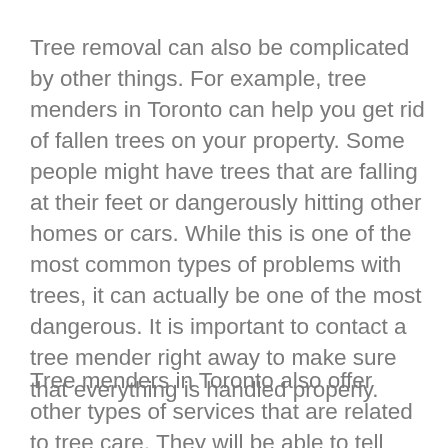Tree removal can also be complicated by other things. For example, tree menders in Toronto can help you get rid of fallen trees on your property. Some people might have trees that are falling at their feet or dangerously hitting other homes or cars. While this is one of the most common types of problems with trees, it can actually be one of the most dangerous. It is important to contact a tree mender right away to make sure that everything is handled properly.
Tree menders in Toronto also offer other types of services that are related to tree care. They will be able to tell you about proper tree care and how to take care of your trees. They can spot any signs of disease and give you the right advice when it comes to cutting down a tree on your own or using an arborist to remove it for you. They will also be